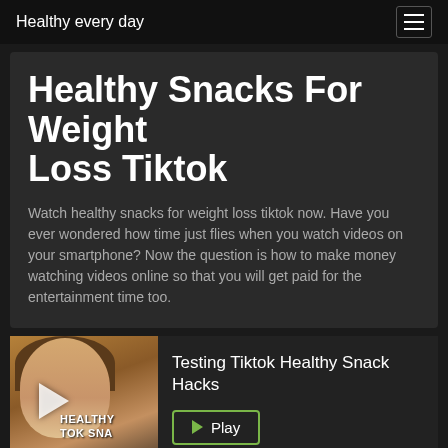Healthy every day
Healthy Snacks For Weight Loss Tiktok
Watch healthy snacks for weight loss tiktok now. Have you ever wondered how time just flies when you watch videos on your smartphone? Now the question is how to make money watching videos online so that you will get paid for the entertainment time too.
[Figure (screenshot): Video thumbnail of a woman with text overlay 'HEALTHY TIKTOK SNACKS' and a play button]
Testing Tiktok Healthy Snack Hacks